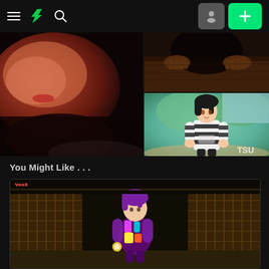[Figure (screenshot): DeviantArt mobile app navigation bar with hamburger menu, lightning bolt logo, search icon, avatar button, and green plus button on dark background]
[Figure (photo): Close-up photo of a person lying down, warm red/orange tones, dark moody lighting]
[Figure (photo): Dark horror-themed image showing hands reaching over a wooden surface from the darkness]
[Figure (illustration): Anime illustration of a character with black hair wearing a black and white striped hoodie, standing outdoors with blurred green background, 'TSU' text watermark in corner]
You Might Like . . .
[Figure (screenshot): 3D rendered scene showing a character with purple hair in colorful costume standing in front of a Japanese-style building with lattice windows. Username 'VooX' shown in red at top left.]